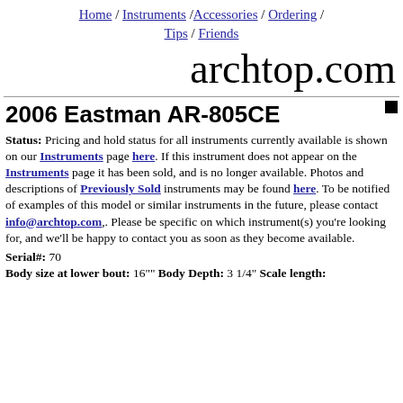Home / Instruments / Accessories / Ordering / Tips / Friends
archtop.com
2006 Eastman AR-805CE
Status: Pricing and hold status for all instruments currently available is shown on our Instruments page here. If this instrument does not appear on the Instruments page it has been sold, and is no longer available. Photos and descriptions of Previously Sold instruments may be found here. To be notified of examples of this model or similar instruments in the future, please contact info@archtop.com,. Please be specific on which instrument(s) you're looking for, and we'll be happy to contact you as soon as they become available.
Serial#: 70
Body size at lower bout: 16"" Body Depth: 3 1/4" Scale length: